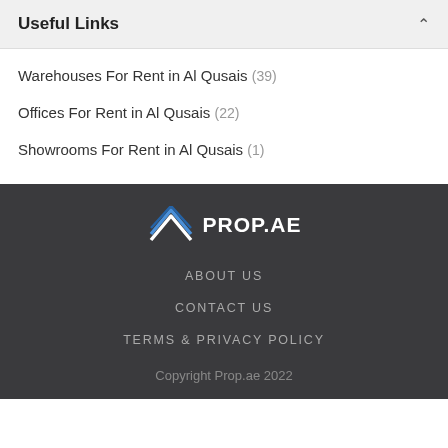Useful Links
Warehouses For Rent in Al Qusais (39)
Offices For Rent in Al Qusais (22)
Showrooms For Rent in Al Qusais (1)
[Figure (logo): PROP.AE logo with stylized chevron/roof icon in white and blue]
ABOUT US
CONTACT US
TERMS & PRIVACY POLICY
Copyright Prop.ae 2022